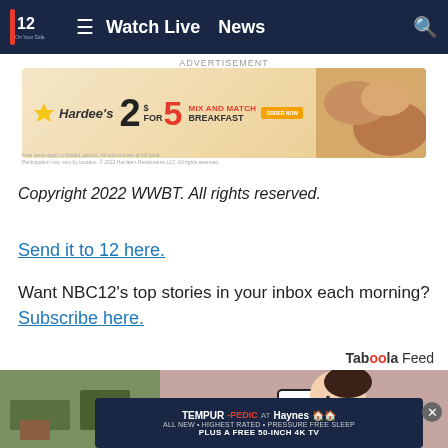NBC12 - Watch Live  News
[Figure (photo): Hardee's advertisement banner: 2 for $5 Mix and Match Breakfast with food imagery]
Copyright 2022 WWBT. All rights reserved.
Send it to 12 here.
Want NBC12's top stories in your inbox each morning? Subscribe here.
Taboola Feed
[Figure (illustration): Cartoon character with dark hair bending down, on pink/mauve background, with a room scene on the left]
[Figure (photo): Tempur-Pedic at Haynes advertisement: All New Highest Rated Pressure Free Sleep Plus a Free 50-Inch 4K TV]